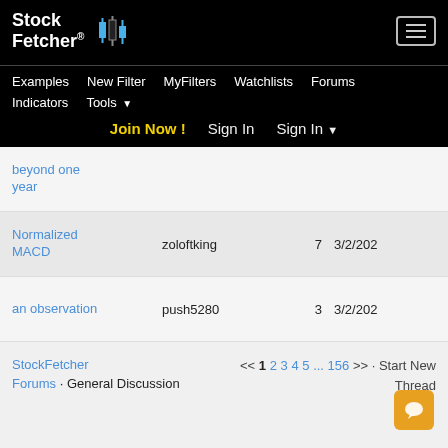StockFetcher® [logo with candlestick chart icon] | hamburger menu button
Examples  New Filter  MyFilters  Watchlists  Forums
Indicators  Tools ▾
Join Now !   Sign In   Sign In ▾
beyond one year
Normalized MACD	zoloftking	7	3/2/202...
an observation	push5280	3	3/2/202...
StockFetcher Forums · General Discussion   << 1 2 3 4 5 ... 156 >> · Start New Thread